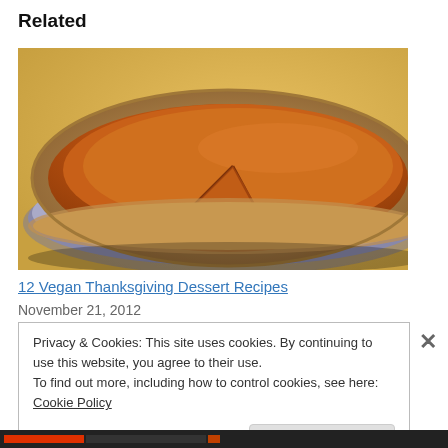Related
[Figure (photo): A pumpkin pie in a tin dish with a slice removed, shot close-up against a warm golden background.]
12 Vegan Thanksgiving Dessert Recipes
November 21, 2012
Privacy & Cookies: This site uses cookies. By continuing to use this website, you agree to their use.
To find out more, including how to control cookies, see here: Cookie Policy
Close and accept